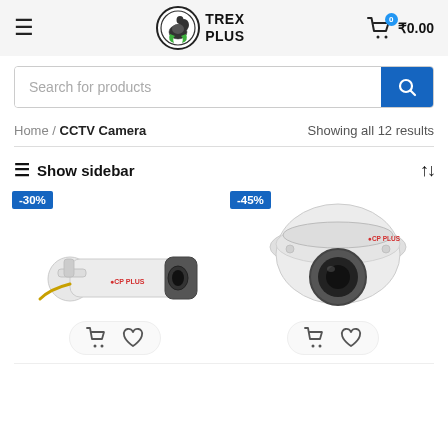Trex Plus — navigation header with logo, hamburger menu, and cart (₹0.00)
Search for products
Home / CCTV Camera — Showing all 12 results
≡ Show sidebar
[Figure (photo): CP PLUS bullet CCTV camera, white, with -30% discount badge]
[Figure (photo): CP PLUS dome CCTV camera, white, with -45% discount badge]